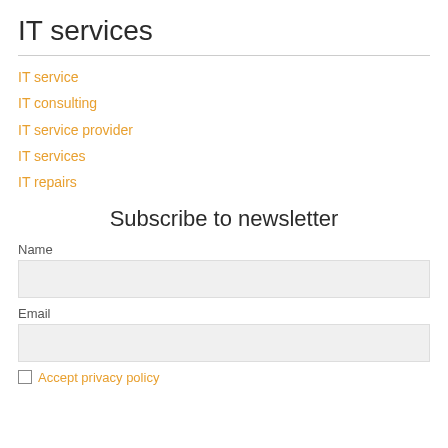IT services
IT service
IT consulting
IT service provider
IT services
IT repairs
Subscribe to newsletter
Name
Email
Accept privacy policy